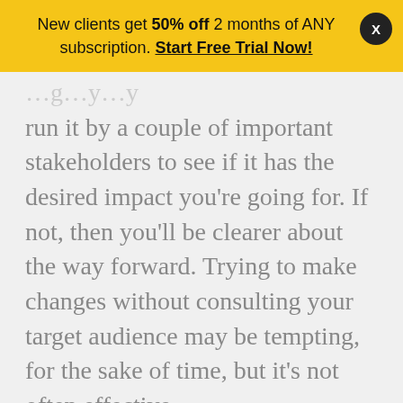New clients get 50% off 2 months of ANY subscription. Start Free Trial Now!
run it by a couple of important stakeholders to see if it has the desired impact you’re going for. If not, then you’ll be clearer about the way forward. Trying to make changes without consulting your target audience may be tempting, for the sake of time, but it’s not often effective.
Our website uses cookies to give you the best and most relevant experience. By continuing to access this site, you consent to our use of cookies.
I Accept